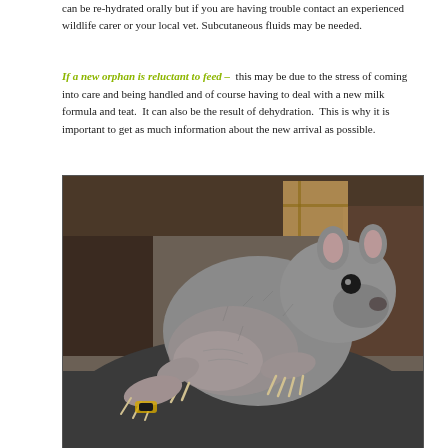can be re-hydrated orally but if you are having trouble contact an experienced wildlife carer or your local vet. Subcutaneous fluids may be needed.
If a new orphan is reluctant to feed – this may be due to the stress of coming into care and being handled and of course having to deal with a new milk formula and teat. It can also be the result of dehydration. This is why it is important to get as much information about the new arrival as possible.
[Figure (photo): Photo of a baby wombat (joey) with sparse grey fur and large claws, held against a person's dark sweater. The wombat is looking at the camera. Background shows a room with wooden furniture.]